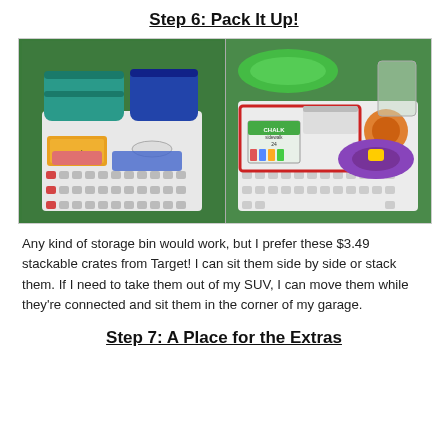Step 6: Pack It Up!
[Figure (photo): Two white stackable storage crates/bins photographed from above on green carpet. Left bin contains rolled sleeping bags, snacks, rubber bands, and small items. Right bin contains chalk box, frisbee, toys, and other outdoor play items.]
Any kind of storage bin would work, but I prefer these $3.49 stackable crates from Target! I can sit them side by side or stack them. If I need to take them out of my SUV, I can move them while they're connected and sit them in the corner of my garage.
Step 7: A Place for the Extras